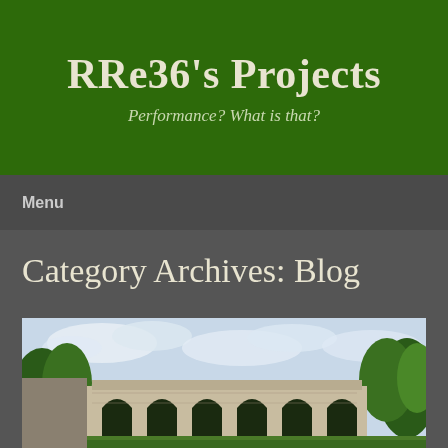RRe36's Projects
Performance? What is that?
Menu
Category Archives: Blog
[Figure (photo): Photograph of a stone arch bridge with multiple Gothic arches, surrounded by green trees under a cloudy blue sky. The image appears to show a model or painting of a viaduct/bridge structure.]